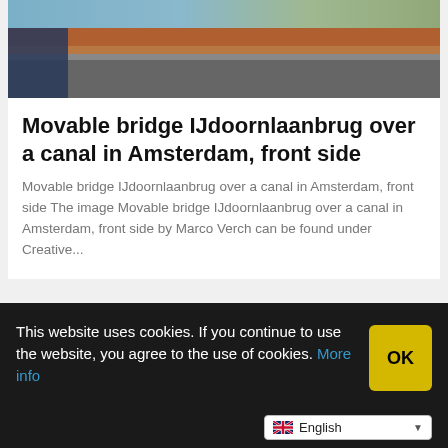[Figure (photo): Street-level photo of IJdoornlaanbrug movable bridge in Amsterdam, showing a cycle path, tram tracks, and trees. HuurMaat logo visible in top-left.]
Movable bridge IJdoornlaanbrug over a canal in Amsterdam, front side
Movable bridge IJdoornlaanbrug over a canal in Amsterdam, front side The image Movable bridge IJdoornlaanbrug over a canal in Amsterdam, front side by Marco Verch can be found under Creative...
[Figure (other): Partial view of another card below, with a red vertical line visible.]
This website uses cookies. If you continue to use the website, you agree to the use of cookies. More info